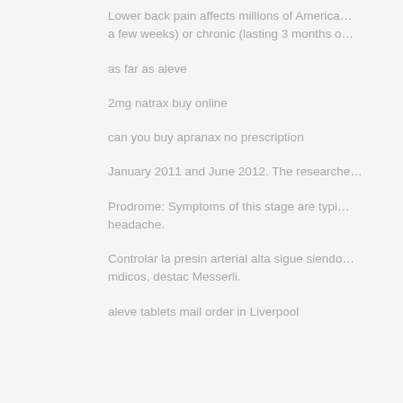Lower back pain affects millions of America… a few weeks) or chronic (lasting 3 months o…
as far as aleve
2mg natrax buy online
can you buy apranax no prescription
January 2011 and June 2012. The researche…
Prodrome: Symptoms of this stage are typi… headache.
Controlar la presin arterial alta sigue siendo… mdicos, destac Messerli.
aleve tablets mail order in Liverpool